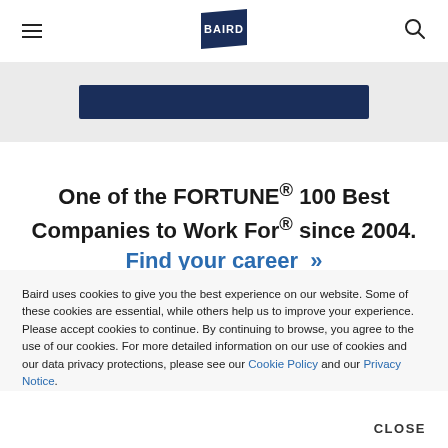[Figure (logo): Baird logo — white text on dark navy blue pennant/trapezoid shape]
One of the FORTUNE® 100 Best Companies to Work For® since 2004. Find your career »
Baird uses cookies to give you the best experience on our website. Some of these cookies are essential, while others help us to improve your experience. Please accept cookies to continue. By continuing to browse, you agree to the use of our cookies. For more detailed information on our use of cookies and our data privacy protections, please see our Cookie Policy and our Privacy Notice.
CLOSE